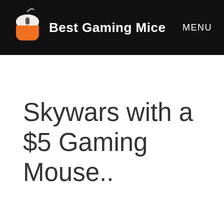Best Gaming Mice  MENU
Skywars with a $5 Gaming Mouse..